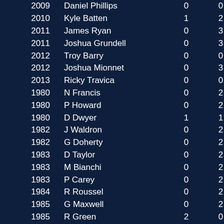| Year | Name | Col3 | Col4 |
| --- | --- | --- | --- |
| 2009 | Daniel Phillips | 0 | 0 |
| 2010 | Kyle Batten | 1 | 2 |
| 2011 | James Ryan | 0 | 3 |
| 2011 | Joshua Grundell | 0 | 3 |
| 2012 | Troy Barry | 0 | 0 |
| 2012 | Joshua Mionnet | 0 | 3 |
| 2013 | Ricky Travica | 0 | 0 |
| 1980 | N Francis | 0 | 2 |
| 1980 | P Howard | 0 | 2 |
| 1980 | D Dwyer | 1 | 1 |
| 1982 | J Waldron | 0 | 2 |
| 1982 | G Doherty | 0 | 2 |
| 1983 | D Taylor | 0 | 2 |
| 1983 | M Bianchi | 0 | 2 |
| 1983 | P Carey | 0 | 2 |
| 1984 | R Roussel | 0 | 2 |
| 1985 | G Maxwell | 0 | 2 |
| 1985 | R Green | 2 | 0 |